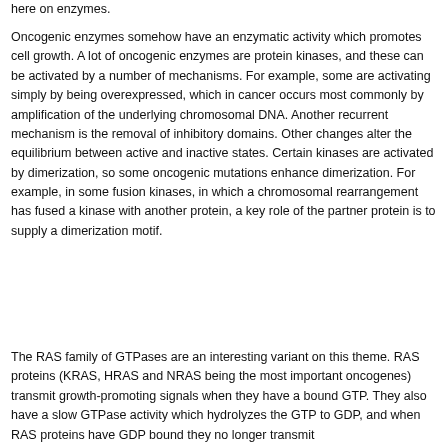here on enzymes.
Oncogenic enzymes somehow have an enzymatic activity which promotes cell growth. A lot of oncogenic enzymes are protein kinases, and these can be activated by a number of mechanisms. For example, some are activating simply by being overexpressed, which in cancer occurs most commonly by amplification of the underlying chromosomal DNA. Another recurrent mechanism is the removal of inhibitory domains. Other changes alter the equilibrium between active and inactive states. Certain kinases are activated by dimerization, so some oncogenic mutations enhance dimerization. For example, in some fusion kinases, in which a chromosomal rearrangement has fused a kinase with another protein, a key role of the partner protein is to supply a dimerization motif.
The RAS family of GTPases are an interesting variant on this theme. RAS proteins (KRAS, HRAS and NRAS being the most important oncogenes) transmit growth-promoting signals when they have a bound GTP. They also have a slow GTPase activity which hydrolyzes the GTP to GDP, and when RAS proteins have GDP bound they no longer transmit